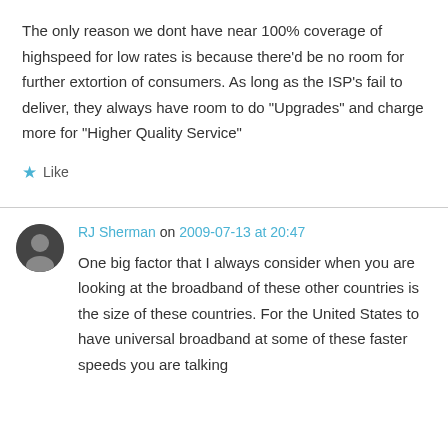The only reason we dont have near 100% coverage of highspeed for low rates is because there'd be no room for further extortion of consumers. As long as the ISP's fail to deliver, they always have room to do “Upgrades” and charge more for “Higher Quality Service”
★ Like
RJ Sherman on 2009-07-13 at 20:47
One big factor that I always consider when you are looking at the broadband of these other countries is the size of these countries. For the United States to have universal broadband at some of these faster speeds you are talking